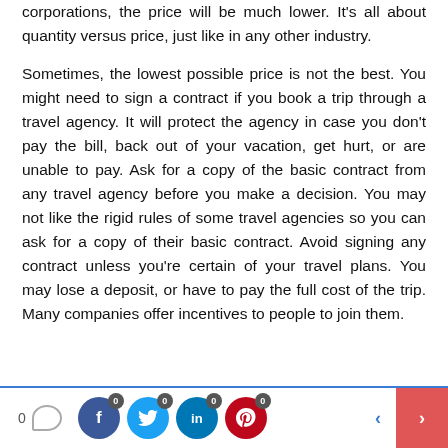corporations, the price will be much lower. It's all about quantity versus price, just like in any other industry.

Sometimes, the lowest possible price is not the best. You might need to sign a contract if you book a trip through a travel agency. It will protect the agency in case you don't pay the bill, back out of your vacation, get hurt, or are unable to pay. Ask for a copy of the basic contract from any travel agency before you make a decision. You may not like the rigid rules of some travel agencies so you can ask for a copy of their basic contract. Avoid signing any contract unless you're certain of your travel plans. You may lose a deposit, or have to pay the full cost of the trip. Many companies offer incentives to people to join them.
0 [comment] [facebook 0] [twitter 0] [linkedin 0] [pinterest 0] [< >]